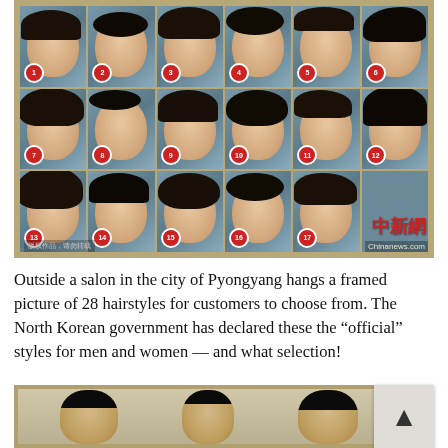[Figure (photo): A framed poster hanging outside a salon in Pyongyang showing 17 numbered women's hairstyle options, arranged in a 3-row grid. Numbers 1-17 are shown in red circular badges. Watermarked with Chinese characters and Chinanews.com logo.]
Outside a salon in the city of Pyongyang hangs a framed picture of 28 hairstyles for customers to choose from. The North Korean government has declared these the “official” styles for men and women — and what selection!
[Figure (photo): Bottom portion of a framed poster showing men's hairstyle options, partially visible. Three male faces with different hairstyles are shown. A scroll-to-top button with an upward arrow is visible in the bottom right corner.]